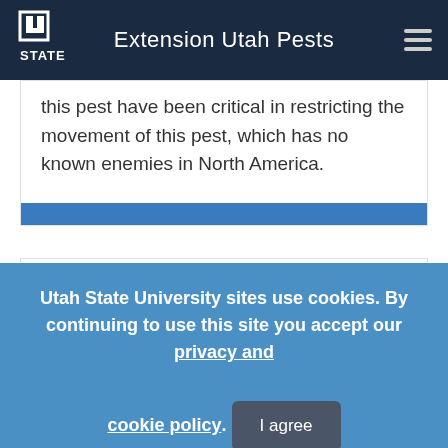Extension Utah Pests
this pest have been critical in restricting the movement of this pest, which has no known enemies in North America.
Balsam Woolly Adelgid - Basic
[Figure (photo): Close-up photo of green pine/fir tree branches]
Utah State University sites use cookies. By continuing to use this site you accept our privacy and cookie policy.